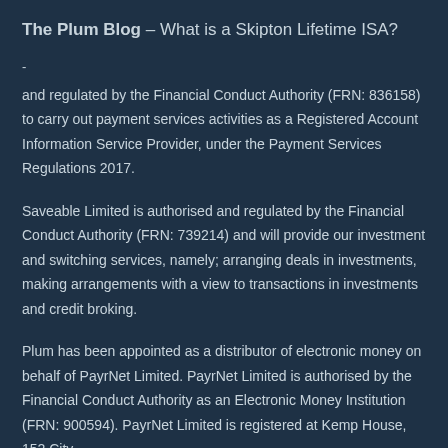The Plum Blog – What is a Skipton Lifetime ISA?
and regulated by the Financial Conduct Authority (FRN: 836158) to carry out payment services activities as a Registered Account Information Service Provider, under the Payment Services Regulations 2017.
Saveable Limited is authorised and regulated by the Financial Conduct Authority (FRN: 739214) and will provide our investment and switching services, namely; arranging deals in investments, making arrangements with a view to transactions in investments and credit broking.
Plum has been appointed as a distributor of electronic money on behalf of PayrNet Limited. PayrNet Limited is authorised by the Financial Conduct Authority as an Electronic Money Institution (FRN: 900594). PayrNet Limited is registered at Kemp House, 152 City